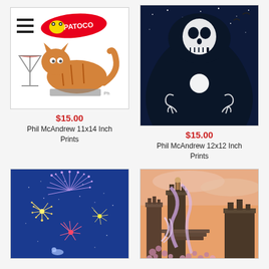[Figure (illustration): Illustration of an orange tabby cat lying on a book with a martini glass nearby, on white background. Hamburger menu icon and TOPATOCO logo with yellow frog visible at top.]
$15.00
Phil McAndrew 11x14 Inch Prints
[Figure (illustration): Dark blue illustration of the Grim Reaper/Death figure with skull face, white orb in center of robe, skeletal hands, against a starry night background.]
$15.00
Phil McAndrew 12x12 Inch Prints
[Figure (illustration): Watercolor illustration of colorful fireworks exploding in blue sky with a figure below watching, rendered in blue, pink, yellow tones.]
[Figure (illustration): Fantasy/gothic illustration of stone ruins or temple structure with a figure and purple/pink floral elements in warm sunset tones.]